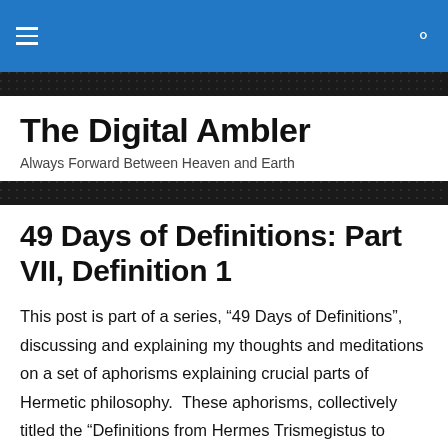The Digital Ambler — navigation bar with hamburger menu and search icon
The Digital Ambler
Always Forward Between Heaven and Earth
49 Days of Definitions: Part VII, Definition 1
This post is part of a series, “49 Days of Definitions”, discussing and explaining my thoughts and meditations on a set of aphorisms explaining crucial parts of Hermetic philosophy.  These aphorisms, collectively titled the “Definitions from Hermes Trismegistus to Asclepius”, lay out the basics of Hermetic philosophy, the place of Man in